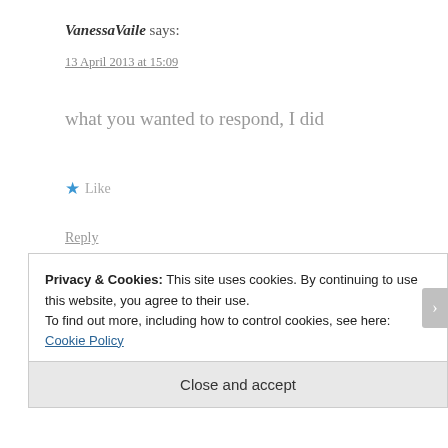VanessaVaile says:
13 April 2013 at 15:09
what you wanted to respond, I did
★ Like
Reply
pan kisses kafka says:
13 April 2013 at 15:16
Privacy & Cookies: This site uses cookies. By continuing to use this website, you agree to their use.
To find out more, including how to control cookies, see here: Cookie Policy
Close and accept